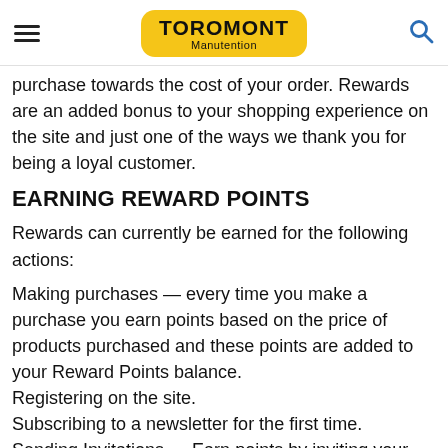TOROMONT Manutention
purchase towards the cost of your order. Rewards are an added bonus to your shopping experience on the site and just one of the ways we thank you for being a loyal customer.
EARNING REWARD POINTS
Rewards can currently be earned for the following actions:
Making purchases — every time you make a purchase you earn points based on the price of products purchased and these points are added to your Reward Points balance.
Registering on the site.
Subscribing to a newsletter for the first time.
Sending Invitations — Earn points by inviting your